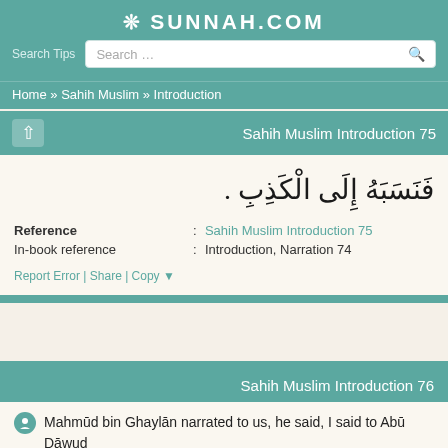SUNNAH.COM
Search Tips
Home » Sahih Muslim » Introduction
Sahih Muslim Introduction 75
فَنَسَبَهُ إِلَى الْكَذِبِ .
| Field | Separator | Value |
| --- | --- | --- |
| Reference | : | Sahih Muslim Introduction 75 |
| In-book reference | : | Introduction, Narration 74 |
Report Error | Share | Copy ▼
Sahih Muslim Introduction 76
Mahmūd bin Ghaylān narrated to us, he said, I said to Abū Dāwud